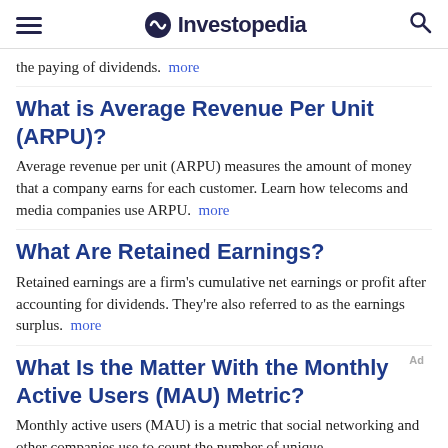Investopedia
the paying of dividends. more
What is Average Revenue Per Unit (ARPU)?
Average revenue per unit (ARPU) measures the amount of money that a company earns for each customer. Learn how telecoms and media companies use ARPU. more
What Are Retained Earnings?
Retained earnings are a firm's cumulative net earnings or profit after accounting for dividends. They're also referred to as the earnings surplus. more
What Is the Matter With the Monthly Active Users (MAU) Metric?
Monthly active users (MAU) is a metric that social networking and other companies use to count the number of unique